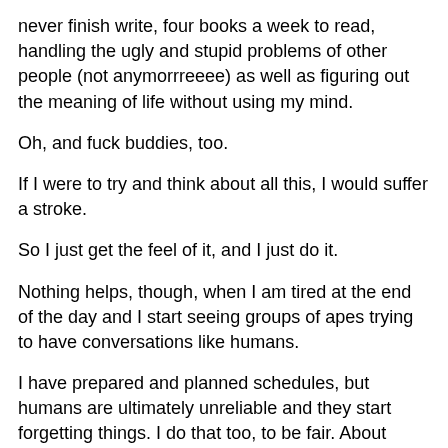never finish write, four books a week to read, handling the ugly and stupid problems of other people (not anymorrreeee) as well as figuring out the meaning of life without using my mind.
Oh, and fuck buddies, too.
If I were to try and think about all this, I would suffer a stroke.
So I just get the feel of it, and I just do it.
Nothing helps, though, when I am tired at the end of the day and I start seeing groups of apes trying to have conversations like humans.
I have prepared and planned schedules, but humans are ultimately unreliable and they start forgetting things. I do that too, to be fair. About twice a year. How can these people survive for the past few billion years?
Furthermore, there is witholding information. I act based on information received. If I don't have complete information,